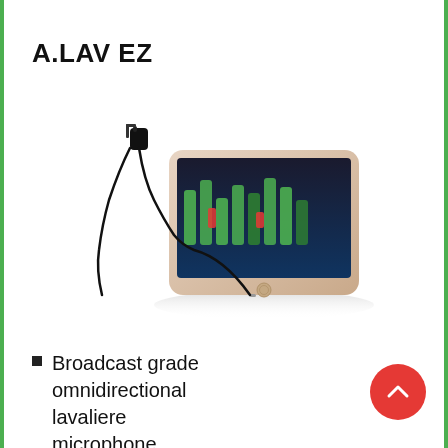A.LAV EZ
[Figure (photo): A lavaliere microphone with a clip at the top connected by a long cable to a smartphone lying flat, showing a recording app interface with green and red waveform bars on the screen.]
Broadcast grade omnidirectional lavaliere microphone